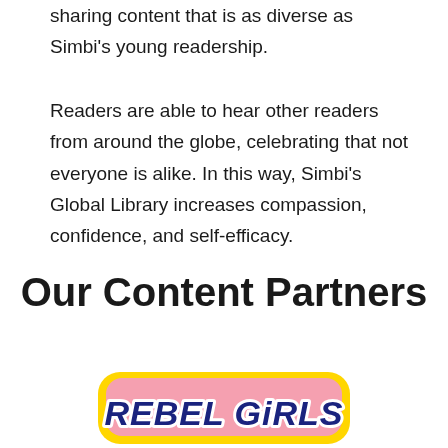sharing content that is as diverse as Simbi's young readership.
Readers are able to hear other readers from around the globe, celebrating that not everyone is alike. In this way, Simbi's Global Library increases compassion, confidence, and self-efficacy.
Our Content Partners
[Figure (logo): Rebel Girls logo — bold italic text 'REBEL GiRLS' in dark navy blue, outlined in white, on a pink rounded rectangle with a yellow border]